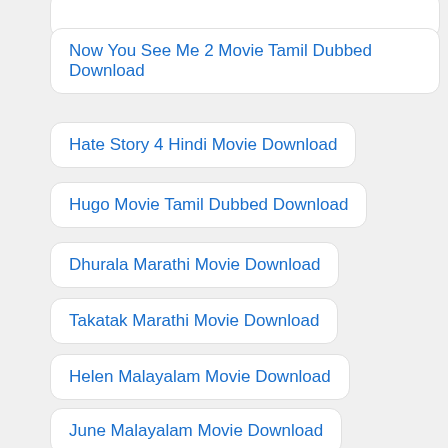Now You See Me 2 Movie Tamil Dubbed Download
Hate Story 4 Hindi Movie Download
Hugo Movie Tamil Dubbed Download
Dhurala Marathi Movie Download
Takatak Marathi Movie Download
Helen Malayalam Movie Download
June Malayalam Movie Download
Kalki Malayalam Movie Download